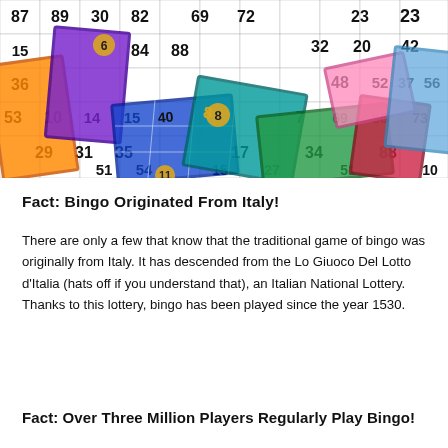[Figure (photo): Colorful bingo cards with numbers scattered across them. Multiple cards in orange, purple, blue, green, teal, red, pink, and light blue colors overlapping each other. Numbers visible include 87, 89, 30, 82, 69, 72, 84, 88, 32, 20, 23, 42, 36, 48, 52, 37, 56, 53, 10, 14, 15, 69, 73, 29, 31, 35, 17, 34, 88, 51, 54, 15, 27, 51, and others.]
Fact: Bingo Originated From Italy!
There are only a few that know that the traditional game of bingo was originally from Italy. It has descended from the Lo Giuoco Del Lotto d'Italia (hats off if you understand that), an Italian National Lottery. Thanks to this lottery, bingo has been played since the year 1530.
Fact: Over Three Million Players Regularly Play Bingo!